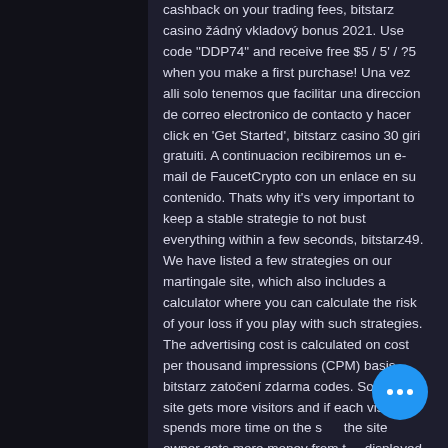cashback on your trading fees, bitstarz casino žádný vkladový bonus 2021. Use code "DDP74" and receive free $5 / 5' / ?5 when you make a first purchase! Una vez alli solo tenemos que facilitar una direccion de correo electronico de contacto y hacer click en 'Get Started', bitstarz casino 30 giri gratuiti. A continuacion recibiremos un e-mail de FaucetCrypto con un enlace en su contenido. Thats why it's very important to keep a stable strategie to not bust everything within a few seconds, bitstarz49. We have listed a few strategies on our martingale site, which also includes a calculator where you can calculate the risk of your loss if you play with such strategies. The advertising cost is calculated on cost per thousand impressions (CPM) basis, bitstarz zatočení zdarma codes. So, if the site gets more visitors and if each visitor spends more time on the site, the site owner gets more money from the displayed ads. In questo articolo ti